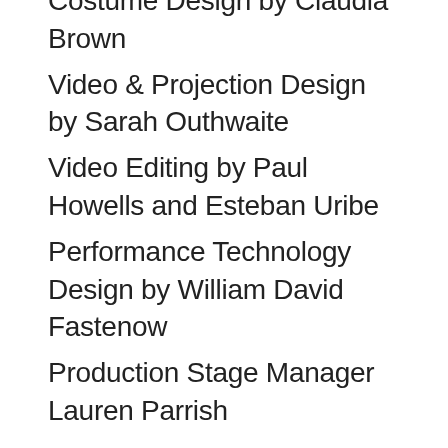Costume Design by Claudia Brown
Video & Projection Design by Sarah Outhwaite
Video Editing by Paul Howells and Esteban Uribe
Performance Technology Design by William David Fastenow
Production Stage Manager Lauren Parrish
BASETRACK Live has traveled to 40 cities across the country and will have its next